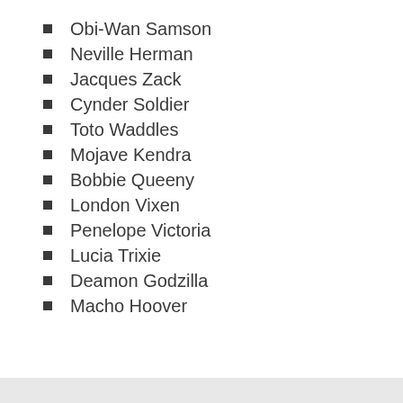Obi-Wan Samson
Neville Herman
Jacques Zack
Cynder Soldier
Toto Waddles
Mojave Kendra
Bobbie Queeny
London Vixen
Penelope Victoria
Lucia Trixie
Deamon Godzilla
Macho Hoover